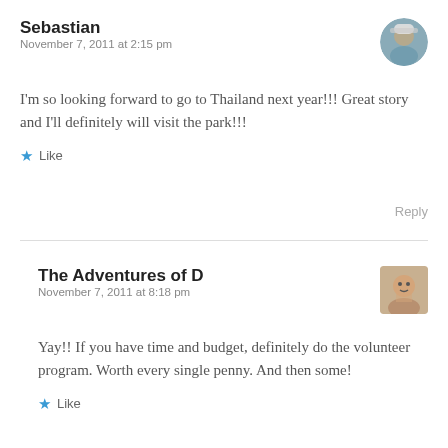Sebastian
November 7, 2011 at 2:15 pm
I'm so looking forward to go to Thailand next year!!! Great story and I'll definitely will visit the park!!!
Like
Reply
The Adventures of D
November 7, 2011 at 8:18 pm
Yay!! If you have time and budget, definitely do the volunteer program. Worth every single penny. And then some!
Like